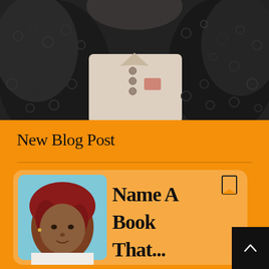[Figure (photo): Close-up photo of a person with thick, curly dark hair, wearing a white button-up shirt with decorative detail, shot from above/close angle showing mainly hair and upper chest area.]
New Blog Post
[Figure (illustration): Blog post card on orange background with a thumbnail photo of a woman with short red hair wearing a white top, against a light blue background. A bookmark icon appears in the upper right of the card. Large text reads 'Name A Book That...' in bold serif font.]